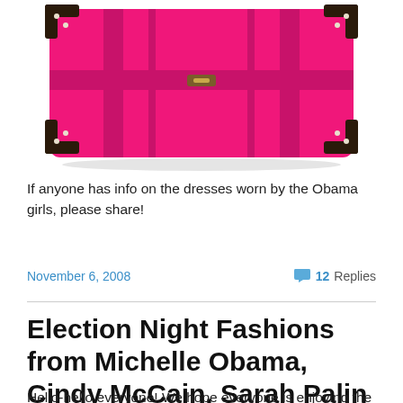[Figure (photo): Pink/hot-pink suitcase with dark brown leather trim and metal corner studs, viewed from above at an angle, cropped at bottom]
If anyone has info on the dresses worn by the Obama girls, please share!
November 6, 2008   💬 12 Replies
Election Night Fashions from Michelle Obama, Cindy McCain, Sarah Palin and More
Hello-hello everyone! We hope everyone is enjoying the soft and sunny weather we are experiencing today!